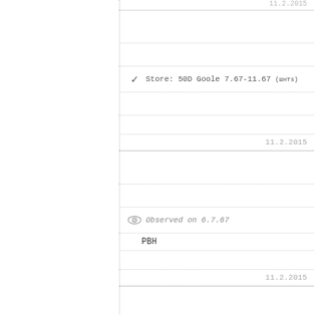Store: 50D Goole 7.67-11.67 (шнтs)
11.2.2015
Observed on 6.7.67
PBH
11.2.2015
Observed on 10.9.67
RBt